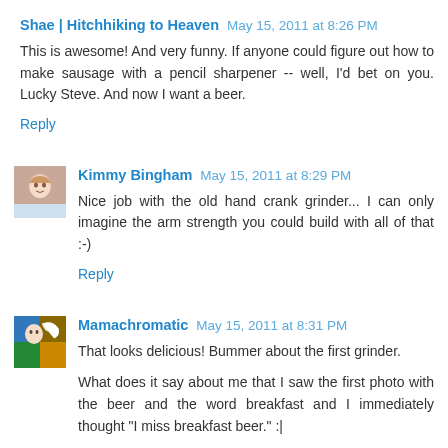Shae | Hitchhiking to Heaven  May 15, 2011 at 8:26 PM
This is awesome! And very funny. If anyone could figure out how to make sausage with a pencil sharpener -- well, I'd bet on you. Lucky Steve. And now I want a beer.
Reply
Kimmy Bingham  May 15, 2011 at 8:29 PM
Nice job with the old hand crank grinder... I can only imagine the arm strength you could build with all of that :-)
Reply
Mamachromatic  May 15, 2011 at 8:31 PM
That looks delicious! Bummer about the first grinder.
What does it say about me that I saw the first photo with the beer and the word breakfast and I immediately thought "I miss breakfast beer." :|